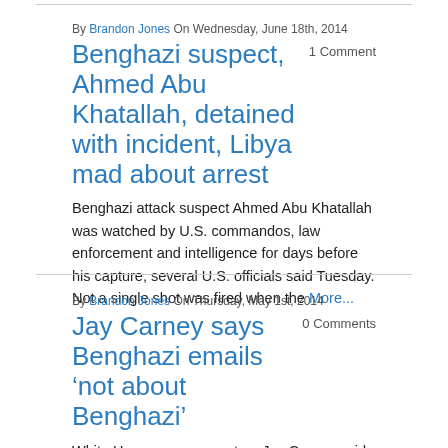By Brandon Jones On Wednesday, June 18th, 2014
Benghazi suspect, Ahmed Abu Khatallah, detained with incident, Libya mad about arrest
1 Comment
Benghazi attack suspect Ahmed Abu Khatallah was watched by U.S. commandos, law enforcement and intelligence for days before his capture, several U.S. officials said Tuesday. Not a single shot was fired when the More...
By Brandon Jones On Thursday, May 1st, 2014
Jay Carney says Benghazi emails ‘not about Benghazi’
0 Comments
White House press secretary Jay Carney said newly released emails showing White House involvement in promoting the narrative that a video prompted the deadly attacks in Benghazi, Libya were not actually “explicitly” More...